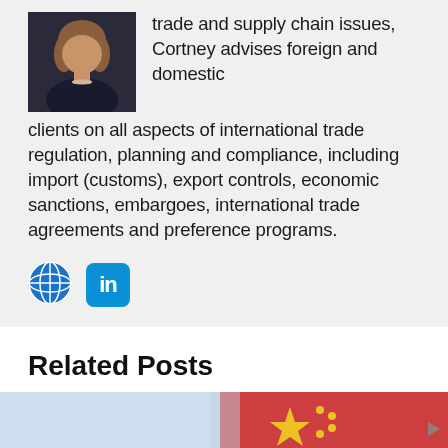[Figure (photo): Headshot of a woman with light brown hair wearing a dark blazer and pearl necklace]
trade and supply chain issues, Cortney advises foreign and domestic clients on all aspects of international trade regulation, planning and compliance, including import (customs), export controls, economic sanctions, embargoes, international trade agreements and preference programs.
[Figure (logo): Globe/world icon social media button]
[Figure (logo): LinkedIn social media button (blue rounded square with 'in' text)]
Related Posts
[Figure (photo): Partial image showing light blue background with Chinese flags and what appears to be trade/legal related imagery]